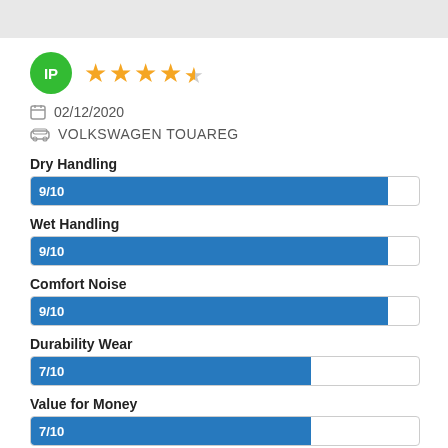[Figure (infographic): User avatar circle with initials IP in green, followed by 4.5 star rating in orange]
02/12/2020
VOLKSWAGEN TOUAREG
Dry Handling
[Figure (bar-chart): Dry Handling]
Wet Handling
[Figure (bar-chart): Wet Handling]
Comfort Noise
[Figure (bar-chart): Comfort Noise]
Durability Wear
[Figure (bar-chart): Durability Wear]
Value for Money
[Figure (bar-chart): Value for Money]